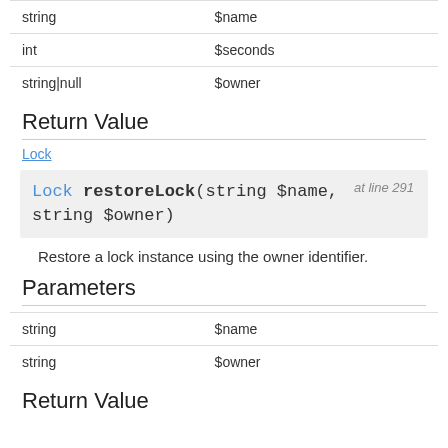| Type | Parameter |
| --- | --- |
| string | $name |
| int | $seconds |
| string|null | $owner |
Return Value
Lock
[Figure (other): Method signature box: Lock restoreLock(string $name, string $owner) at line 291]
Restore a lock instance using the owner identifier.
Parameters
| Type | Parameter |
| --- | --- |
| string | $name |
| string | $owner |
Return Value